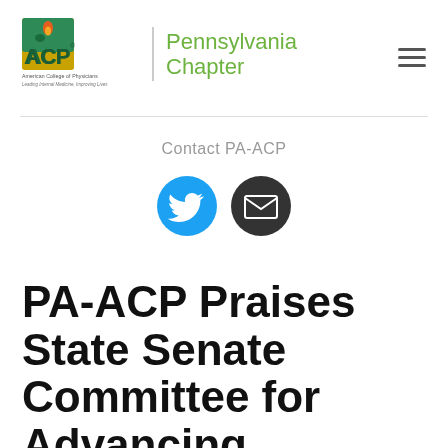[Figure (logo): ACP American College of Physicians logo with Pennsylvania Chapter text in green]
Contact PA-ACP
[Figure (infographic): Twitter bird icon (blue circle) and envelope/email icon (dark circle) for social media contact]
PA-ACP Praises State Senate Committee for Advancing Telemedicine Legislation